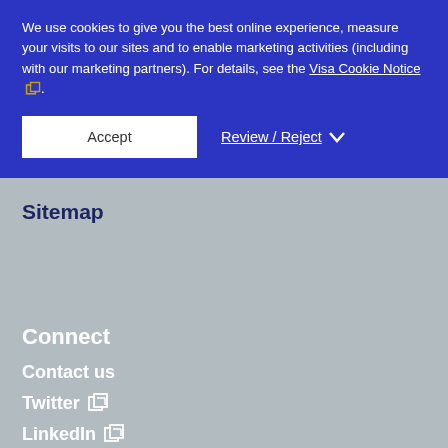We use cookies to give you the best online experience, measure your visits to our sites and to enable marketing activities (including with our marketing partners). For details, see the Visa Cookie Notice [external link icon].
Accept
Review / Reject
Sitemap
Connect
Contact us
Twitter [external link icon]
LinkedIn [external link icon]
YouTube [external link icon]